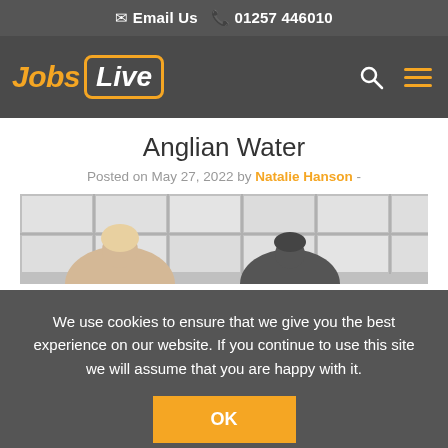Email Us  01257 446010
[Figure (logo): Jobs Live logo — 'Jobs' in yellow italic and 'Live' in white italic inside a yellow rounded rectangle]
Anglian Water
Posted on May 27, 2022 by Natalie Hanson -
[Figure (photo): Office scene with ceiling tiles and silhouettes of people viewed from behind, with a green JOBS tab on the right]
We use cookies to ensure that we give you the best experience on our website. If you continue to use this site we will assume that you are happy with it.